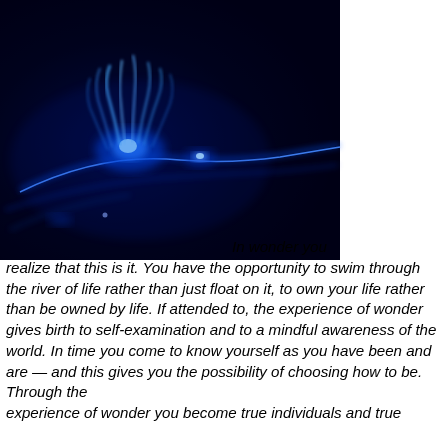[Figure (photo): A dark background with glowing bright blue plasma or aurora-like streaks and flares arching across the image, resembling solar corona or plasma discharge phenomenon.]
In wonder you realize that this is it. You have the opportunity to swim through the river of life rather than just float on it, to own your life rather than be owned by life. If attended to, the experience of wonder gives birth to self-examination and to a mindful awareness of the world. In time you come to know yourself as you have been and are — and this gives you the possibility of choosing how to be. Through the experience of wonder you become true individuals and true...